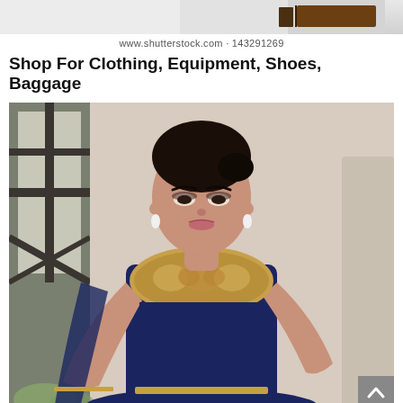[Figure (photo): Top cropped portion of a product image, showing partial view of an object against a light background, with a dark brown rectangular element on the right side.]
www.shutterstock.com · 143291269
Shop For Clothing, Equipment, Shoes, Baggage
[Figure (photo): A woman wearing a navy blue Indian dress (anarkali suit) with gold embroidery on the yoke/shoulders, pearl drop earrings, with dark hair pulled back. Background shows a partially timbered building exterior. A gray scroll-to-top button is visible at the bottom right corner.]